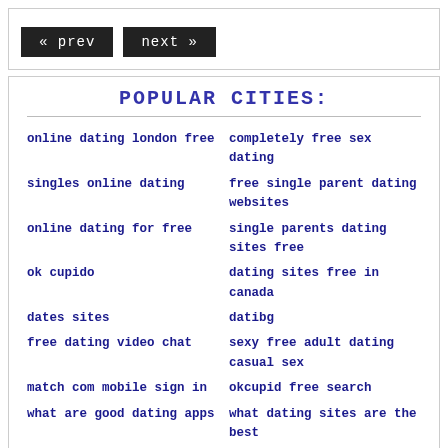« prev
next »
POPULAR CITIES:
online dating london free
completely free sex dating
singles online dating
free single parent dating websites
online dating for free
single parents dating sites free
ok cupido
dating sites free in canada
dates sites
datibg
free dating video chat
sexy free adult dating casual sex
match com mobile sign in
okcupid free search
what are good dating apps
what dating sites are the best
free online christian dating
date me app